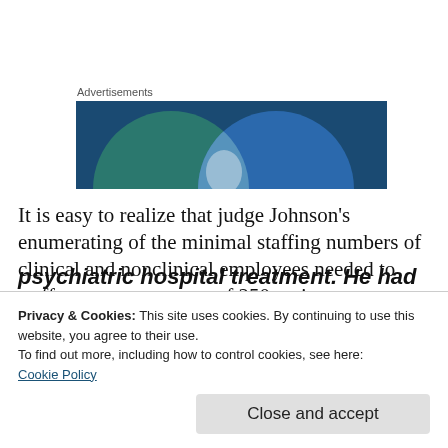[Figure (illustration): Advertisement banner with abstract overlapping circles in teal/green and blue on a dark blue background, forming a Venn-diagram-like design with a white/light overlapping region.]
It is easy to realize that judge Johnson’s enumerating of the minimal staffing numbers of clinical and nonclinical employees needed to staff a treatment center of 250 patients was
Privacy & Cookies: This site uses cookies. By continuing to use this website, you agree to their use.
To find out more, including how to control cookies, see here:
Cookie Policy
psychiatric hospital treatment. He had a few